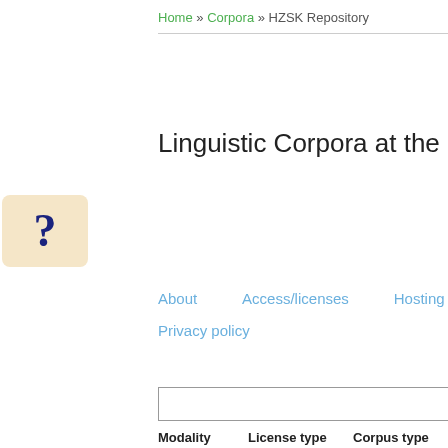Home » Corpora » HZSK Repository
Linguistic Corpora at the HZSK Repository
[Figure (other): Help icon: question mark in a beige/tan rounded box]
About
Access/licenses
Hosting
Privacy policy
Search bar with filter button
Modality: 4 spoken | License type: 2 academic, 2 restricted | Corpus type: 4 general corpus | Language: 4 German, 1 French, 1 Italian, 1 Spanish
Searched: adult bilingualism x